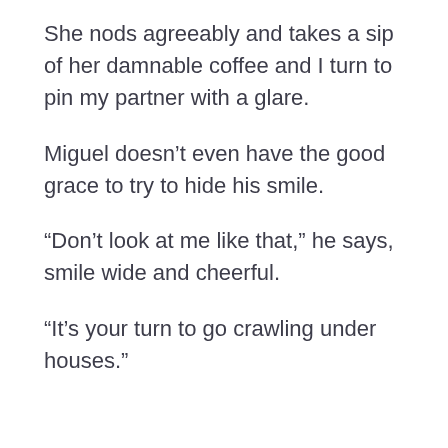She nods agreeably and takes a sip of her damnable coffee and I turn to pin my partner with a glare.
Miguel doesn't even have the good grace to try to hide his smile.
“Don’t look at me like that,” he says, smile wide and cheerful.
“It’s your turn to go crawling under houses.”